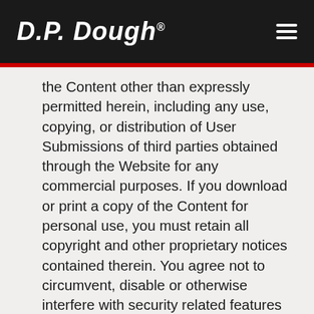D.P. Dough®
the Content other than expressly permitted herein, including any use, copying, or distribution of User Submissions of third parties obtained through the Website for any commercial purposes. If you download or print a copy of the Content for personal use, you must retain all copyright and other proprietary notices contained therein. You agree not to circumvent, disable or otherwise interfere with security related features of the Website or features that prevent or restrict use or copying of any Content or enforce limitations on use of the Website or the Content therein.